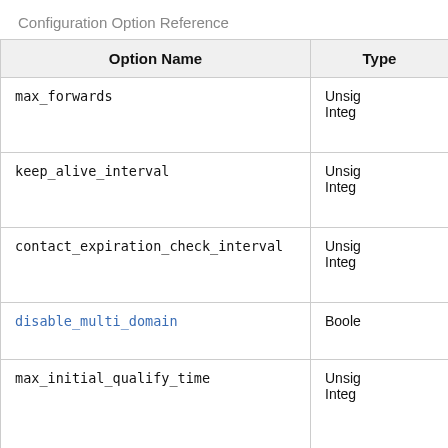Configuration Option Reference
| Option Name | Type |
| --- | --- |
| max_forwards | Unsigned Integer |
| keep_alive_interval | Unsigned Integer |
| contact_expiration_check_interval | Unsigned Integer |
| disable_multi_domain | Boolean |
| max_initial_qualify_time | Unsigned Integer |